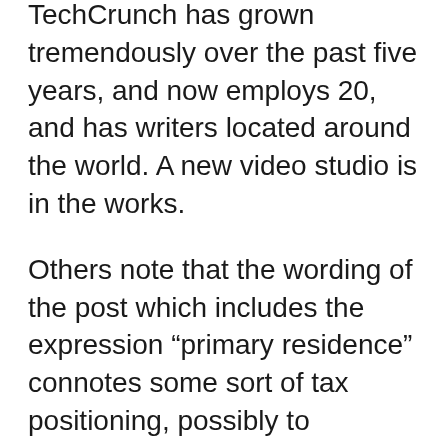TechCrunch has grown tremendously over the past five years, and now employs 20, and has writers located around the world. A new video studio is in the works.
Others note that the wording of the post which includes the expression “primary residence” connotes some sort of tax positioning, possibly to minimize tax liability for an impending transaction such as the sale of TechCrunch.
According to compete.com, TechCrunch draws between 1.5 and 2.0M unique visitors a month, placing it in second place, behind Mashable, a popular tech blog focused on social media.
Stay tuned, with Arrington there’s always more